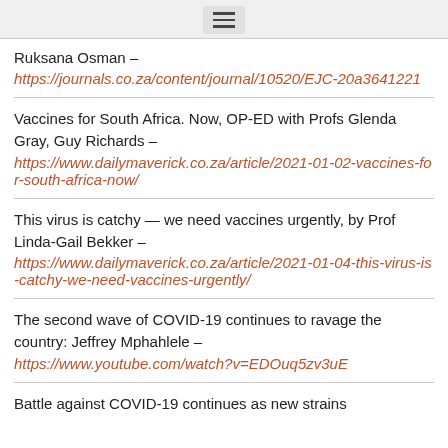☰
Ruksana Osman – https://journals.co.za/content/journal/10520/EJC-20a3641221
Vaccines for South Africa. Now, OP-ED with Profs Glenda Gray, Guy Richards – https://www.dailymaverick.co.za/article/2021-01-02-vaccines-for-south-africa-now/
This virus is catchy — we need vaccines urgently, by Prof Linda-Gail Bekker – https://www.dailymaverick.co.za/article/2021-01-04-this-virus-is-catchy-we-need-vaccines-urgently/
The second wave of COVID-19 continues to ravage the country: Jeffrey Mphahlele – https://www.youtube.com/watch?v=EDOuq5zv3uE
Battle against COVID-19 continues as new strains